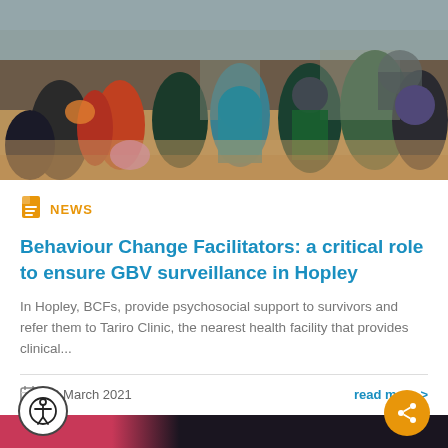[Figure (photo): Outdoor scene showing a group of people gathered in a dusty open area, some wearing colorful clothing including red, teal, and green. Background shows buildings and a water tank.]
NEWS
Behaviour Change Facilitators: a critical role to ensure GBV surveillance in Hopley
In Hopley, BCFs, provide psychosocial support to survivors and refer them to Tariro Clinic, the nearest health facility that provides clinical...
23 March 2021
read more >
[Figure (photo): Partial view of bottom of page showing a pink/red colored image strip at bottom with accessibility and share buttons overlaid.]